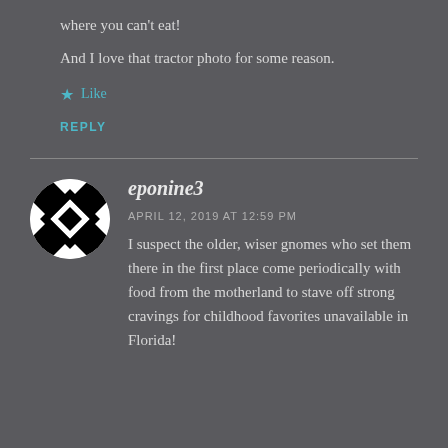where you can't eat!
And I love that tractor photo for some reason.
Like
REPLY
eponine3
APRIL 12, 2019 AT 12:59 PM
I suspect the older, wiser gnomes who set them there in the first place come periodically with food from the motherland to stave off strong cravings for childhood favorites unavailable in Florida!